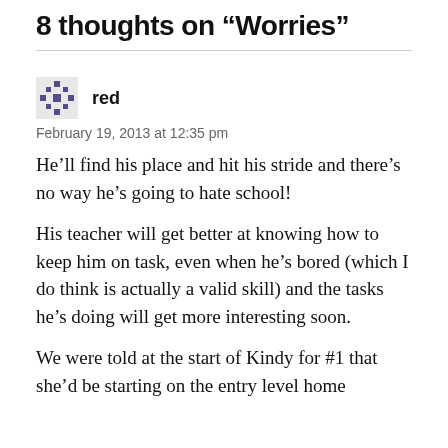8 thoughts on “Worries”
red
February 19, 2013 at 12:35 pm
He’ll find his place and hit his stride and there’s no way he’s going to hate school!
His teacher will get better at knowing how to keep him on task, even when he’s bored (which I do think is actually a valid skill) and the tasks he’s doing will get more interesting soon.
We were told at the start of Kindy for #1 that she’d be starting on the entry level home